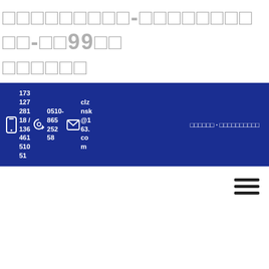□□□□□□□□□-□□□□□□□□□□-□□99□□ □□□□□□
173 127 281 18 / 136 461 510 51  0510-865 252 58  clznsk@163.com  □□□□□□ · □□□□□□□□□□
[Figure (other): Hamburger menu icon (three horizontal lines)]